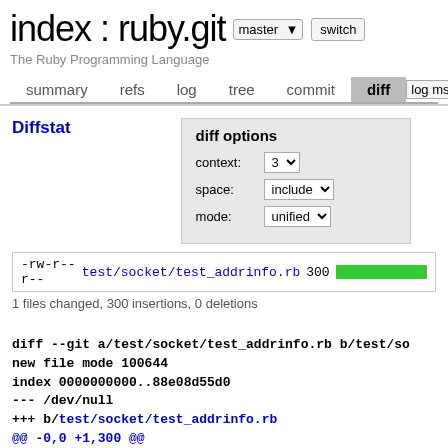index : ruby.git
The Ruby Programming Language
summary  refs  log  tree  commit  diff  log msg
Diffstat
diff options
context: 3
space: include
mode: unified
-rw-r--r--  test/socket/test_addrinfo.rb  300 [bar]
1 files changed, 300 insertions, 0 deletions
diff --git a/test/socket/test_addrinfo.rb b/test/so
new file mode 100644
index 0000000000..88e08d55d0
--- /dev/null
+++ b/test/socket/test_addrinfo.rb
@@ -0,0 +1,300 @@
+begin
+  require "socket"